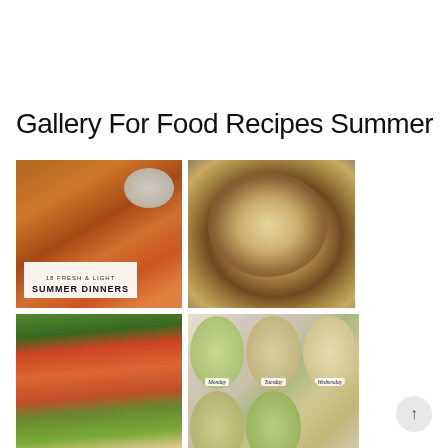Gallery For Food Recipes Summer
[Figure (photo): Bowl of colorful summer dinner dish with vegetables and grains. Text overlay reads '18 Fresh & Light SUMMER DINNERS']
[Figure (photo): Overhead view of flatbread pizza with toppings including cheese, corn, herbs on a textured surface]
[Figure (photo): Stuffed zucchini boats with cheesy tomato topping, garnished with herbs]
[Figure (photo): Weekly meal prep containers arranged in a grid showing Monday, Tuesday, Wednesday, Thursday, Friday labeled containers with food]